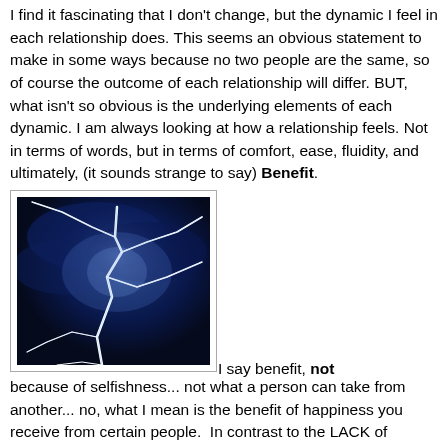I find it fascinating that I don't change, but the dynamic I feel in each relationship does. This seems an obvious statement to make in some ways because no two people are the same, so of course the outcome of each relationship will differ. BUT, what isn't so obvious is the underlying elements of each dynamic. I am always looking at how a relationship feels. Not in terms of words, but in terms of comfort, ease, fluidity, and ultimately, (it sounds strange to say) Benefit.
[Figure (photo): A dramatic photograph of lightning bolts against a dark blue stormy sky]
I say benefit, not because of selfishness... not what a person can take from another... no, what I mean is the benefit of happiness you receive from certain people. In contrast to the LACK of happiness you have with others. And not just happiness